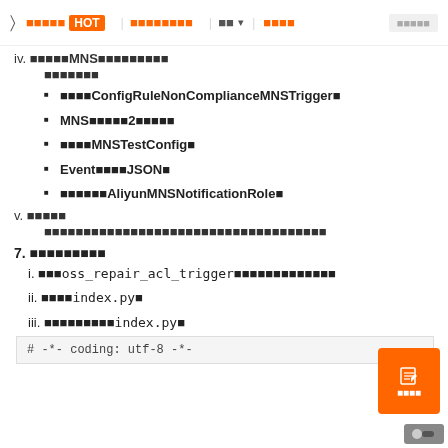HOT | (nav links)
iv. (Chinese text)MNS(Chinese text)
(Chinese text)
(Chinese text)ConfigRuleNonComplianceMNSTrigger(Chinese text)
MNS(Chinese text)2(Chinese text)
(Chinese text)MNSTestConfig(Chinese text)
Event(Chinese text)JSON(Chinese text)
(Chinese text)AliyunMNSNotificationRole(Chinese text)
v. (Chinese text)
(Chinese text)
7. (Chinese text)
i. (Chinese text)oss_repair_acl_trigger(Chinese text)
ii. (Chinese text)index.py(Chinese text)
iii. (Chinese text)index.py(Chinese text)
# -*- coding: utf-8 -*-